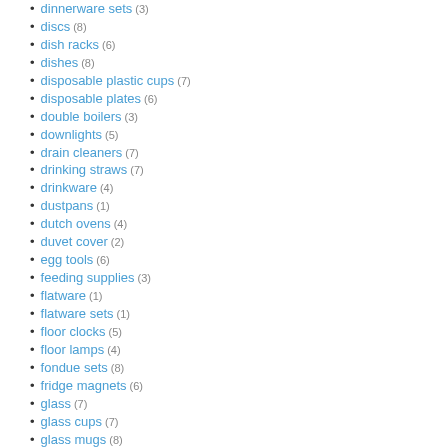dinnerware sets (3)
discs (8)
dish racks (6)
dishes (8)
disposable plastic cups (7)
disposable plates (6)
double boilers (3)
downlights (5)
drain cleaners (7)
drinking straws (7)
drinkware (4)
dustpans (1)
dutch ovens (4)
duvet cover (2)
egg tools (6)
feeding supplies (3)
flatware (1)
flatware sets (1)
floor clocks (5)
floor lamps (4)
fondue sets (8)
fridge magnets (6)
glass (7)
glass cups (7)
glass mugs (8)
graters (8)
gravy boats (4)
grille lamps (4)
grooming products (7)
hangers (7)
herb (8)
hip flasks (1)
holders (5)
home decor (8)
home storage (8)
home supplies agents (6)
home supplies projects (7)